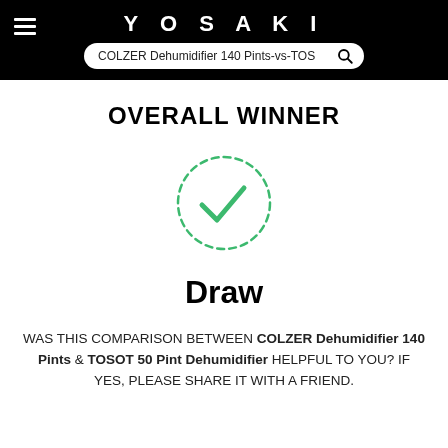YOSAKI
OVERALL WINNER
[Figure (illustration): Green dashed circle with a green checkmark inside, indicating a draw result.]
Draw
WAS THIS COMPARISON BETWEEN COLZER Dehumidifier 140 Pints & TOSOT 50 Pint Dehumidifier HELPFUL TO YOU? IF YES, PLEASE SHARE IT WITH A FRIEND.